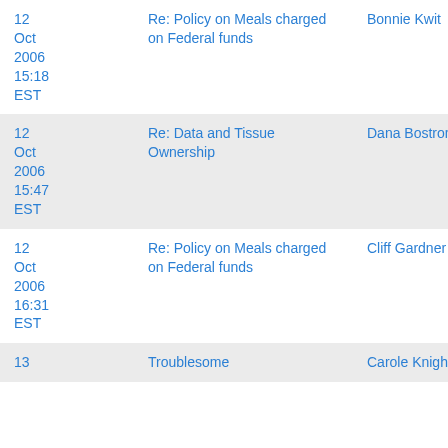| Date | Subject | Sender |
| --- | --- | --- |
| 12 Oct 2006 15:18 EST | Re: Policy on Meals charged on Federal funds | Bonnie Kwit |
| 12 Oct 2006 15:47 EST | Re: Data and Tissue Ownership | Dana Bostrom |
| 12 Oct 2006 16:31 EST | Re: Policy on Meals charged on Federal funds | Cliff Gardner |
| 13 | Troublesome | Carole Knight |